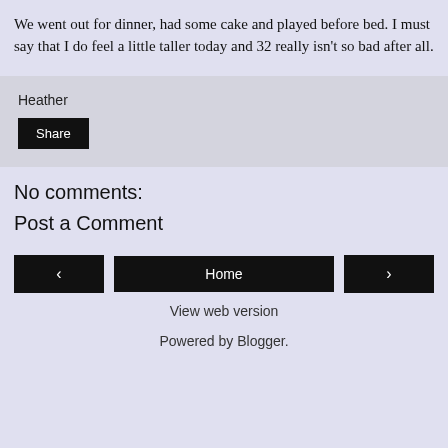We went out for dinner, had some cake and played before bed. I must say that I do feel a little taller today and 32 really isn't so bad after all.
Heather
Share
No comments:
Post a Comment
‹
Home
›
View web version
Powered by Blogger.